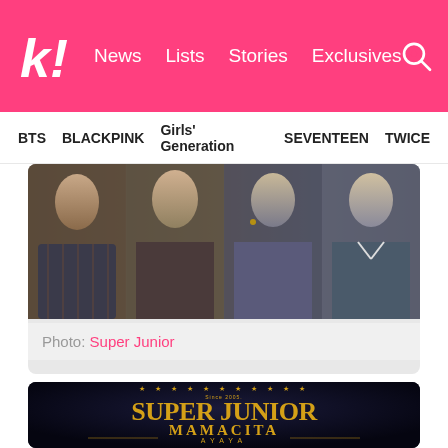k! News Lists Stories Exclusives
BTS  BLACKPINK  Girls' Generation  SEVENTEEN  TWICE
[Figure (photo): Four members of Super Junior in close-up portrait shots, black and white tones, wearing various outfits]
Photo: Super Junior
[Figure (logo): Super Junior MAMACITA AYAYA album logo in gold on dark background with member names listed below]